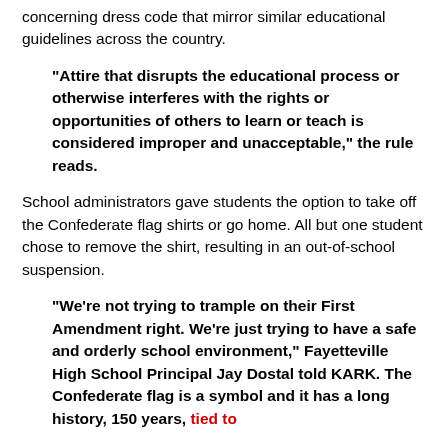concerning dress code that mirror similar educational guidelines across the country.
"Attire that disrupts the educational process or otherwise interferes with the rights or opportunities of others to learn or teach is considered improper and unacceptable," the rule reads.
School administrators gave students the option to take off the Confederate flag shirts or go home. All but one student chose to remove the shirt, resulting in an out-of-school suspension.
"We’re not trying to trample on their First Amendment right. We’re just trying to have a safe and orderly school environment," Fayetteville High School Principal Jay Dostal told KARK. The Confederate flag is a symbol and it has a long history, 150 years, tied to